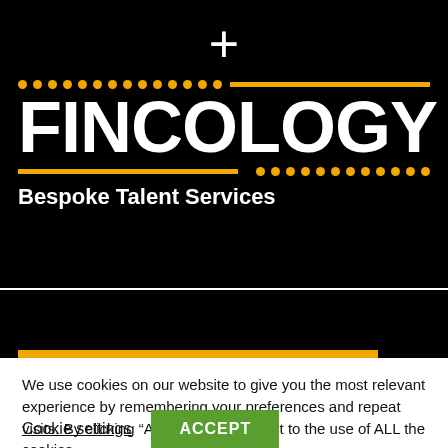[Figure (logo): Fincology logo with white plus symbol, orange dots and lines decoration, large white bold FINCOLOGY text on black background, tagline 'Bespoke Talent Services']
We use cookies on our website to give you the most relevant experience by remembering your preferences and repeat visits. By clicking “Accept”, you consent to the use of ALL the cookies.
Cookie settings
ACCEPT